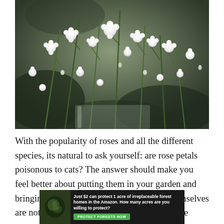[Figure (photo): Close-up photograph of white baby's breath flowers (Gypsophila) with green stems, clustered densely, with a soft blurred background.]
With the popularity of roses and all the different species, its natural to ask yourself: are rose petals poisonous to cats? The answer should make you feel better about putting them in your garden and bringing them into your home. No, roses themselves are not poisonous to cats. Cats may experience a little discomfort or stomach upset if they eat them, but they
[Figure (advertisement): Dark-background advertisement banner reading: 'Just $2 can protect 1 acre of irreplaceable forest homes in the Amazon. How many acres are you willing to protect?' with a green 'PROTECT FORESTS NOW' button and a small wildlife photo on the left.]